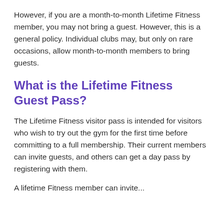However, if you are a month-to-month Lifetime Fitness member, you may not bring a guest. However, this is a general policy. Individual clubs may, but only on rare occasions, allow month-to-month members to bring guests.
What is the Lifetime Fitness Guest Pass?
The Lifetime Fitness visitor pass is intended for visitors who wish to try out the gym for the first time before committing to a full membership. Their current members can invite guests, and others can get a day pass by registering with them.
A Lifetime Fitness member can invite...